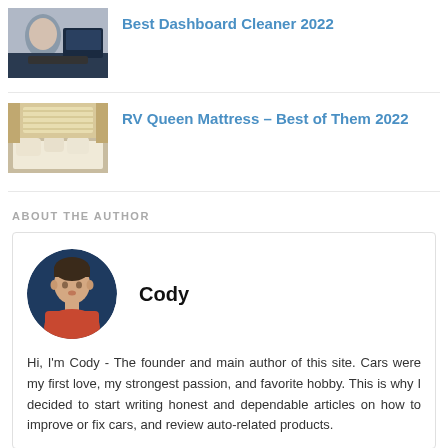[Figure (photo): Thumbnail image for Best Dashboard Cleaner 2022 article - person cleaning car dashboard]
Best Dashboard Cleaner 2022
[Figure (photo): Thumbnail image for RV Queen Mattress article - RV interior with bed and pillows]
RV Queen Mattress – Best of Them 2022
ABOUT THE AUTHOR
[Figure (photo): Circular portrait photo of Cody - a young man against a dark blue background]
Cody
Hi, I'm Cody - The founder and main author of this site. Cars were my first love, my strongest passion, and favorite hobby. This is why I decided to start writing honest and dependable articles on how to improve or fix cars, and review auto-related products.